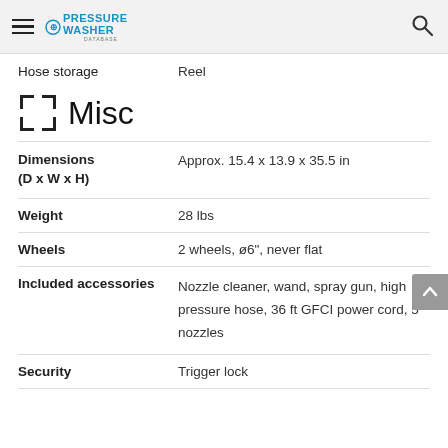Pressure Washer Database
| Specification | Value |
| --- | --- |
| Hose storage | Reel |
| Dimensions (D x W x H) | Approx. 15.4 x 13.9 x 35.5 in |
| Weight | 28 lbs |
| Wheels | 2 wheels, ø6", never flat |
| Included accessories | Nozzle cleaner, wand, spray gun, high pressure hose, 36 ft GFCI power cord, 5 nozzles |
| Security | Trigger lock |
Misc